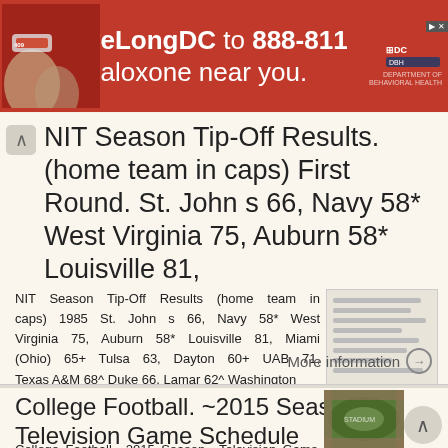[Figure (infographic): Red advertisement banner: 'Text LiveLongDC to 888-811 to find naloxone near you.' with DC government logos and photo of hands holding medicine.]
NIT Season Tip-Off Results. (home team in caps) First Round. St. John s 66, Navy 58* West Virginia 75, Auburn 58* Louisville 81,
NIT Season Tip-Off Results (home team in caps) 1985 St. John s 66, Navy 58* West Virginia 75, Auburn 58* Louisville 81, Miami (Ohio) 65+ Tulsa 63, Dayton 60+ UAB 71, Texas A&M 68^ Duke 66, Lamar 62^ Washington
More information →
College Football. ~2015 Season~ Television Game Schedule
College Football ~2015 Season~ Television Game Schedule Saturday, August 29 North Dakota State at Montana ESPN 2:30 p.m.